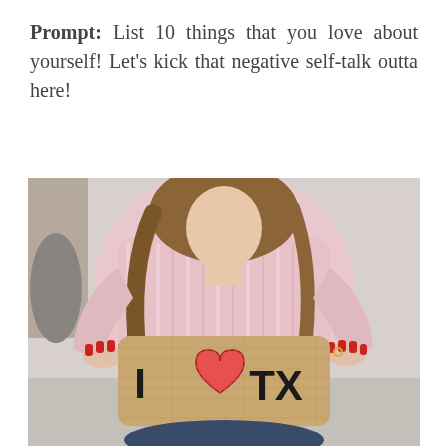Prompt: List 10 things that you love about yourself! Let's kick that negative self-talk outta here!
[Figure (photo): A woman in a pink striped shirt with wavy brown hair holding a burlap pillow that reads 'I [heart] TX' with a red felt heart stitched on it. She has red nail polish and is sitting down.]